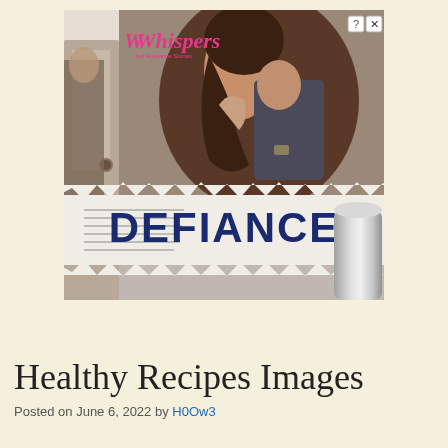[Figure (illustration): Advertisement banner for 'Whispers' romance stories app featuring 'DEFIANCE' title. Shows a romantic couple embracing, with torn newspaper-style banner displaying the word DEFIANCE in bold dark blue letters, a scroll/cylinder on the right, and the Whispers pink logo in the top left. Close and help buttons in top right corner.]
Healthy Recipes Images
Posted on June 6, 2022 by H0Ow3